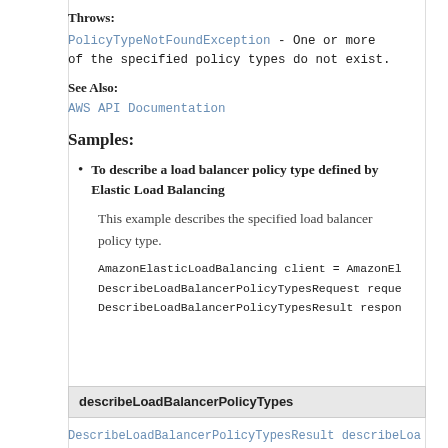Throws:
PolicyTypeNotFoundException - One or more of the specified policy types do not exist.
See Also:
AWS API Documentation
Samples:
To describe a load balancer policy type defined by Elastic Load Balancing
This example describes the specified load balancer policy type.
AmazonElasticLoadBalancing client = AmazonEl
DescribeLoadBalancerPolicyTypesRequest reque
DescribeLoadBalancerPolicyTypesResult respon
describeLoadBalancerPolicyTypes
DescribeLoadBalancerPolicyTypesResult describeLoa